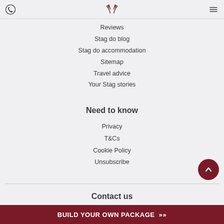Phone icon | Antler logo | Menu icon
Reviews
Stag do blog
Stag do accommodation
Sitemap
Travel advice
Your Stag stories
Need to know
Privacy
T&Cs
Cookie Policy
Unsubscribe
Contact us
BUILD YOUR OWN PACKAGE »